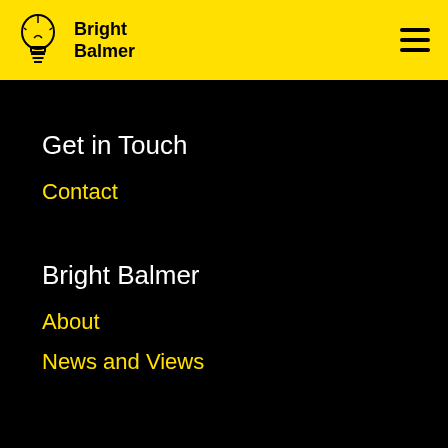Bright Balmer
Get in Touch
Contact
Bright Balmer
About
News and Views